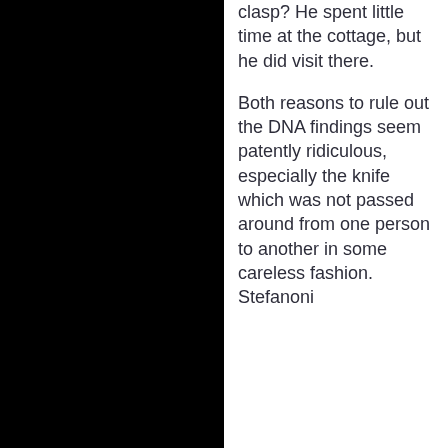clasp? He spent little time at the cottage, but he did visit there.
Both reasons to rule out the DNA findings seem patently ridiculous, especially the knife which was not passed around from one person to another in some careless fashion. Stefanoni